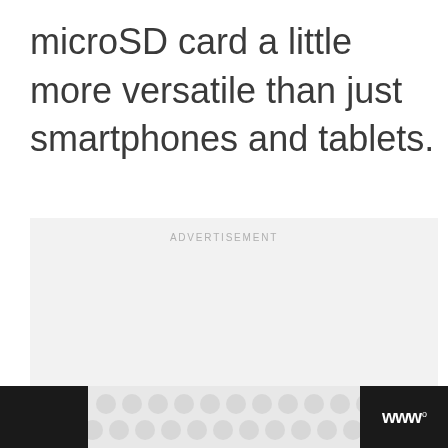microSD card a little more versatile than just smartphones and tablets.
[Figure (other): Advertisement placeholder box with light gray background and 'ADVERTISEMENT' label centered near top]
[Figure (other): Footer bar with dark background, decorative dot pattern in center section, and logo 'w°' on the right]